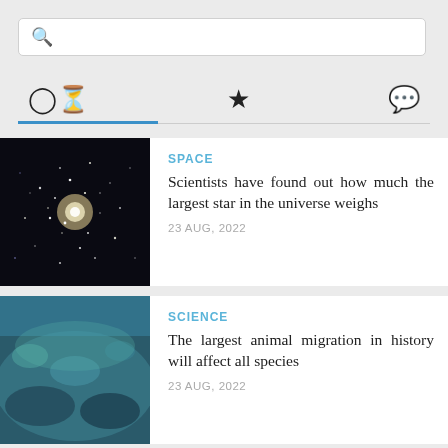[Figure (screenshot): Search bar with magnifying glass icon on grey background]
[Figure (screenshot): Navigation tabs with clock icon, star icon, and chat bubble icon, with blue underline under first tab]
[Figure (photo): Star cluster on black space background - news thumbnail]
SPACE
Scientists have found out how much the largest star in the universe weighs
23 AUG, 2022
[Figure (photo): Underwater seafloor image - news thumbnail]
SCIENCE
The largest animal migration in history will affect all species
23 AUG, 2022
[Figure (photo): Cracked dry earth / drought image - news thumbnail]
SCIENCE
Asia predicted a catastrophic shortage of drinking water